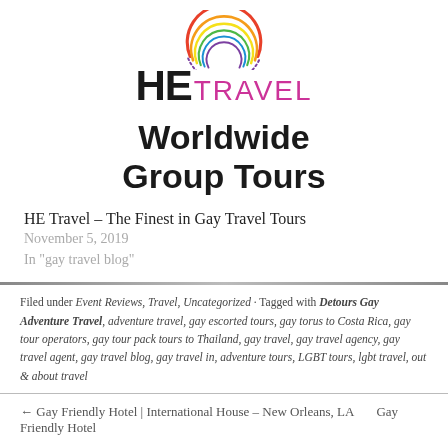[Figure (logo): HE Travel logo with rainbow arc circle and text 'HE TRAVEL Worldwide Group Tours']
HE Travel – The Finest in Gay Travel Tours
November 5, 2019
In "gay travel blog"
Filed under Event Reviews, Travel, Uncategorized · Tagged with Detours Gay Adventure Travel, adventure travel, gay escorted tours, gay torus to Costa Rica, gay tour operators, gay tour packages, tours to Thailand, gay travel, gay travel agency, gay travel agent, gay travel blog, gay travel in, adventure tours, LGBT tours, lgbt travel, out & about travel
← Gay Friendly Hotel | International House – New Orleans, LA    Gay Friendly Hotel